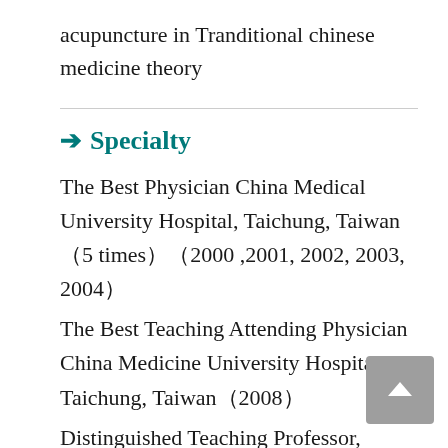acupuncture in Tranditional chinese medicine theory
➔ Specialty
The Best Physician China Medical University Hospital, Taichung, Taiwan（5 times）（2000 ,2001, 2002, 2003, 2004）
The Best Teaching Attending Physician China Medicine University Hospital, Taichung, Taiwan（2008）
Distinguished Teaching Professor, College of Chinese Medicine, CMU (2011)
The research themes in my department aim to